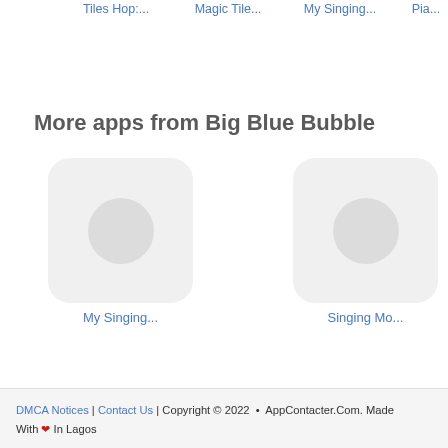Tiles Hop:...
Magic Tile...
My Singing...
Pia...
More apps from Big Blue Bubble
[Figure (illustration): App icon placeholder for My Singing...]
My Singing...
[Figure (illustration): App icon placeholder for Singing Mo...]
Singing Mo...
DMCA Notices | Contact Us | Copyright © 2022 • AppContacter.Com. Made With ❤ In Lagos